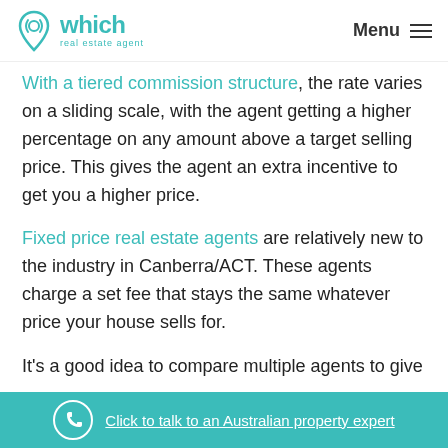which real estate agent | Menu
With a tiered commission structure, the rate varies on a sliding scale, with the agent getting a higher percentage on any amount above a target selling price. This gives the agent an extra incentive to get you a higher price.
Fixed price real estate agents are relatively new to the industry in Canberra/ACT. These agents charge a set fee that stays the same whatever price your house sells for.
It's a good idea to compare multiple agents to give
Click to talk to an Australian property expert